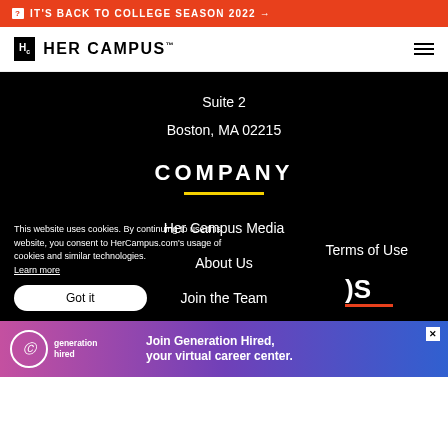IT'S BACK TO COLLEGE SEASON 2022 →
[Figure (logo): Her Campus logo with Hc monogram in black box and HER CAMPUS text]
Suite 2
Boston, MA 02215
COMPANY
Her Campus Media
About Us
Join the Team
This website uses cookies. By continuing to use this website, you consent to HerCampus.com's usage of cookies and similar technologies. Learn more
Got it
Terms of Use
[Figure (screenshot): Partial text showing JS letters and orange underline, from a section heading cut off]